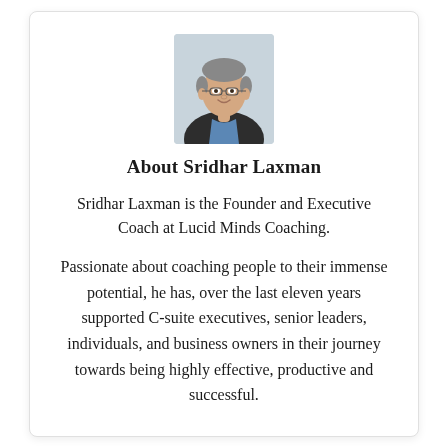[Figure (photo): Headshot photo of Sridhar Laxman, a middle-aged man wearing glasses and a dark blazer over a blue shirt, smiling, against a white background.]
About Sridhar Laxman
Sridhar Laxman is the Founder and Executive Coach at Lucid Minds Coaching.
Passionate about coaching people to their immense potential, he has, over the last eleven years supported C-suite executives, senior leaders, individuals, and business owners in their journey towards being highly effective, productive and successful.